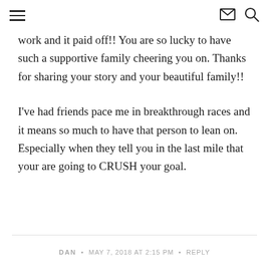[hamburger menu] [envelope icon] [search icon]
work and it paid off!! You are so lucky to have such a supportive family cheering you on. Thanks for sharing your story and your beautiful family!!
I've had friends pace me in breakthrough races and it means so much to have that person to lean on. Especially when they tell you in the last mile that your are going to CRUSH your goal.
DAN • MAY 7, 2018 AT 2:15 PM • REPLY